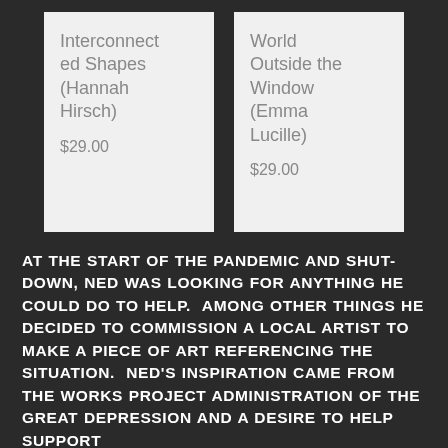Interconnected Shapes (Hannah Hirsch)
$29.00
World Outside the Window (Emma Lucille)
$29.00
AT THE START OF THE PANDEMIC AND SHUTDOWN, NED WAS LOOKING FOR ANYTHING HE COULD DO TO HELP.  AMONG OTHER THINGS HE DECIDED TO COMMISSION A LOCAL ARTIST TO MAKE A PIECE OF ART REFERENCING THE SITUATION.  NED'S INSPIRATION CAME FROM THE WORKS PROJECT ADMINISTRATION OF THE GREAT DEPRESSION AND A DESIRE TO HELP SUPPORT